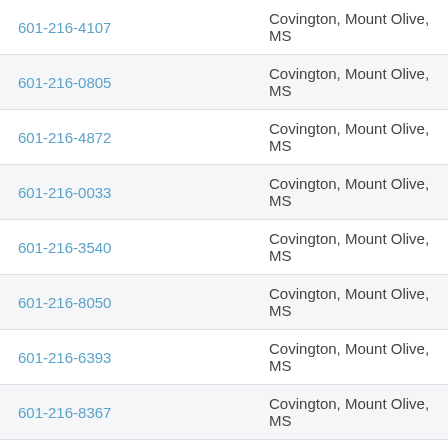| Phone | Location |
| --- | --- |
| 601-216-4107 | Covington, Mount Olive, MS |
| 601-216-0805 | Covington, Mount Olive, MS |
| 601-216-4872 | Covington, Mount Olive, MS |
| 601-216-0033 | Covington, Mount Olive, MS |
| 601-216-3540 | Covington, Mount Olive, MS |
| 601-216-8050 | Covington, Mount Olive, MS |
| 601-216-6393 | Covington, Mount Olive, MS |
| 601-216-8367 | Covington, Mount Olive, MS |
| 601-216-2531 | Covington, Mount Olive, MS |
| 601-216-1503 | Covington, Mount Olive, MS |
| 601-216-0534 | Covington, Mount Olive, MS |
| 601-216-6795 | Covington, Mount Olive, MS |
| 601-216-???? | Covington, Mount Olive, MS |